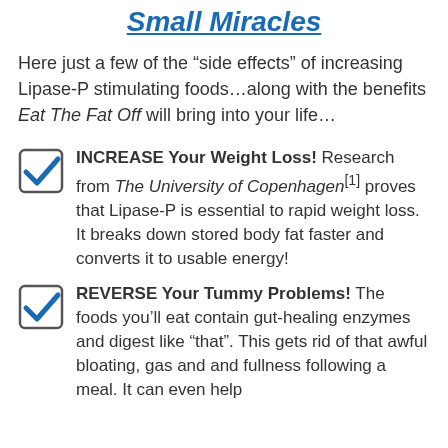Small Miracles
Here just a few of the “side effects” of increasing Lipase-P stimulating foods…along with the benefits Eat The Fat Off will bring into your life…
INCREASE Your Weight Loss! Research from The University of Copenhagen[1] proves that Lipase-P is essential to rapid weight loss. It breaks down stored body fat faster and converts it to usable energy!
REVERSE Your Tummy Problems! The foods you’ll eat contain gut-healing enzymes and digest like “that”. This gets rid of that awful bloating, gas and and fullness following a meal. It can even help